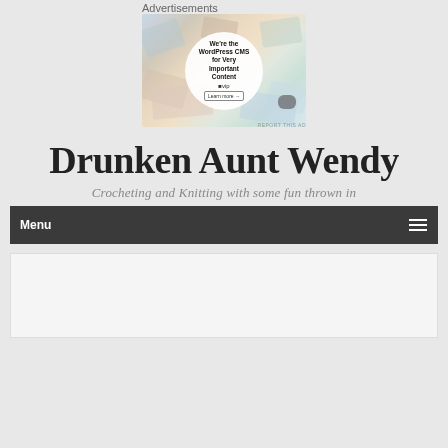Advertisements
[Figure (illustration): WordPress VIP advertisement banner showing company logos (Meta, Facebook, Merck, Capgemini, hachette, TalentFest) with a circular overlay reading 'We're the WordPress CMS for Very Important Content' with a WordPress VIP logo and 'Learn more' button. Small 'REPORT THIS AD' text at bottom right.]
Drunken Aunt Wendy
Crocheting and Knitting with some fun thrown in
Menu